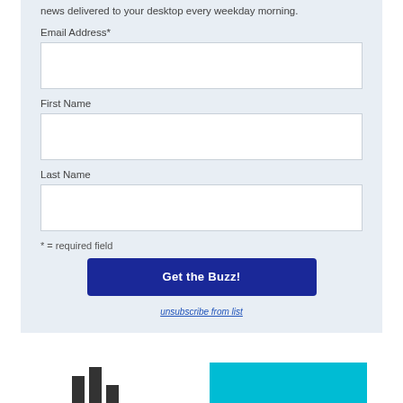news delivered to your desktop every weekday morning.
Email Address*
First Name
Last Name
* = required field
Get the Buzz!
unsubscribe from list
[Figure (screenshot): Bottom partial view showing dark bar chart elements on the left and a cyan/teal colored rectangular block on the right]